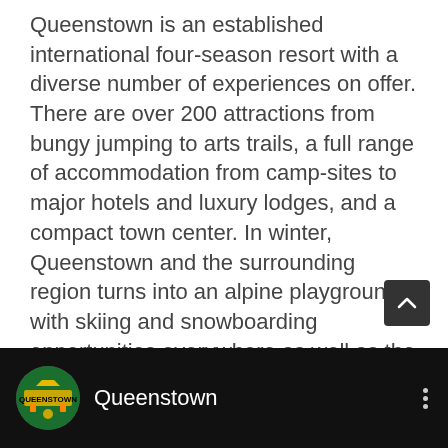Queenstown is an established international four-season resort with a diverse number of experiences on offer. There are over 200 attractions from bungy jumping to arts trails, a full range of accommodation from camp-sites to major hotels and luxury lodges, and a compact town center. In winter, Queenstown and the surrounding region turns into an alpine playground, with skiing and snowboarding opportunities everywhere as well as the annual Queenstown Winter Festival. Milford and Doubtful Sounds in Fiordland National Park are a day trip distance from Queenstown, A range of multi-day tramping tracks, including the Routeburn, Hollyford, Greenstone and Rees-Dart, are within driving distance of Queenstown.
[Figure (screenshot): Dark bottom bar showing a YouTube-style channel entry with circular avatar logo for 'Queenstown' channel, white text label 'Queenstown', and a vertical three-dot menu icon on the right.]